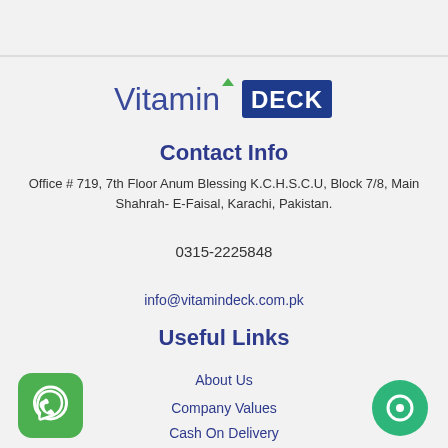[Figure (logo): VitaminDECK logo — 'Vitamin' in blue serif-style text with a green leaf accent, 'DECK' in white text on dark blue rectangle background]
Contact Info
Office # 719, 7th Floor Anum Blessing K.C.H.S.C.U, Block 7/8, Main Shahrah- E-Faisal, Karachi, Pakistan.
0315-2225848
info@vitamindeck.com.pk
Useful Links
About Us
Company Values
Cash On Delivery
[Figure (illustration): Green WhatsApp icon button in bottom left corner]
[Figure (illustration): Green chat/messenger icon button in bottom right corner]